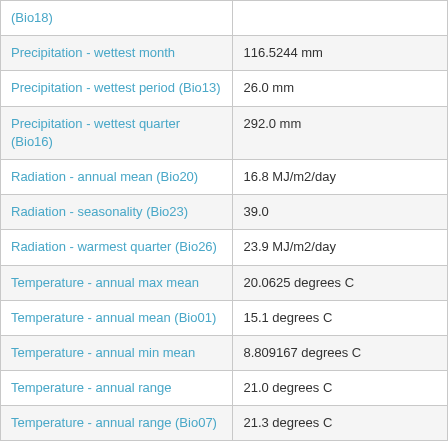| Variable | Value |
| --- | --- |
| (Bio18) |  |
| Precipitation - wettest month | 116.5244 mm |
| Precipitation - wettest period (Bio13) | 26.0 mm |
| Precipitation - wettest quarter (Bio16) | 292.0 mm |
| Radiation - annual mean (Bio20) | 16.8 MJ/m2/day |
| Radiation - seasonality (Bio23) | 39.0 |
| Radiation - warmest quarter (Bio26) | 23.9 MJ/m2/day |
| Temperature - annual max mean | 20.0625 degrees C |
| Temperature - annual mean (Bio01) | 15.1 degrees C |
| Temperature - annual min mean | 8.809167 degrees C |
| Temperature - annual range | 21.0 degrees C |
| Temperature - annual range (Bio07) | 21.3 degrees C |